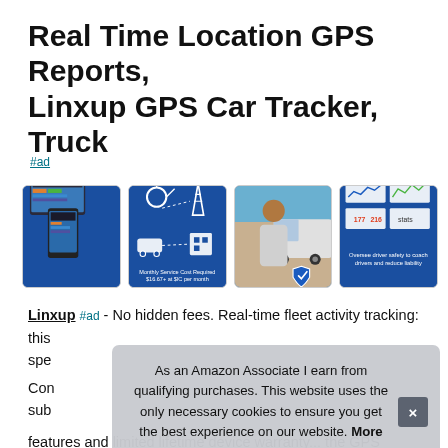Real Time Location GPS Reports, Linxup GPS Car Tracker, Truck
#ad
[Figure (screenshot): Four product images in a row: (1) GPS dashboard on tablet/phone devices with caption 'Access from your internet browser or our free mobile app', (2) Satellite/connectivity diagram with caption 'Monthly Service Cost Required $16.67+ at $IC per month', (3) Photo of a smiling delivery man in front of a white van with shield icon 'Improve Fleet Performance', (4) Charts/graphs screenshots with caption 'Oversee driver safety to coach drivers and reduce liability']
Linxup #ad - No hidden fees. Real-time fleet activity tracking: this spe
Con sub
As an Amazon Associate I earn from qualifying purchases. This website uses the only necessary cookies to ensure you get the best experience on our website. More information
features and limited lifetime device warranty... the GPS